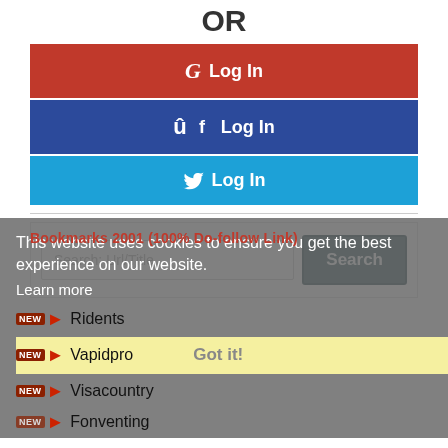OR
[Figure (screenshot): Google Log In button (red)]
[Figure (screenshot): Facebook Log In button (dark blue)]
[Figure (screenshot): Twitter Log In button (light blue)]
[Figure (screenshot): Search bar with placeholder 'Search: Url/Title' and Search button]
This website uses cookies to ensure you get the best experience on our website.
Bookmarks 2001 (100% Do-follow Link)
Learn more
Ridents
Vapidpro    Got it!
Visacountry
Fonventing